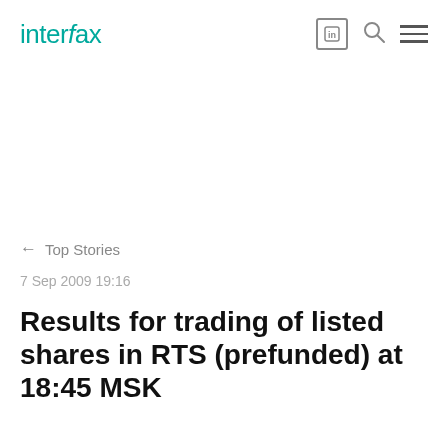interfax
← Top Stories
7 Sep 2009 19:16
Results for trading of listed shares in RTS (prefunded) at 18:45 MSK